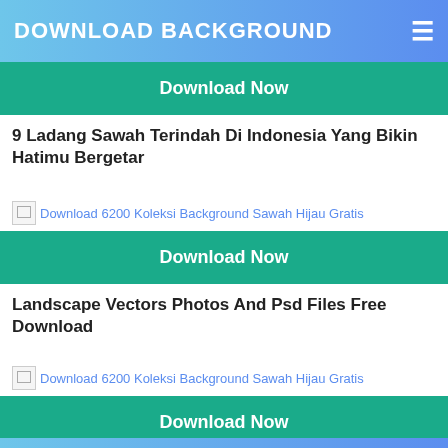DOWNLOAD BACKGROUND
Download Now
9 Ladang Sawah Terindah Di Indonesia Yang Bikin Hatimu Bergetar
[Figure (photo): Broken image placeholder with alt text: Download 6200 Koleksi Background Sawah Hijau Gratis]
Download Now
Landscape Vectors Photos And Psd Files Free Download
[Figure (photo): Broken image placeholder with alt text: Download 6200 Koleksi Background Sawah Hijau Gratis]
Download Now
The Picta Pictaram Pictame Online Instagram Posts Viewer